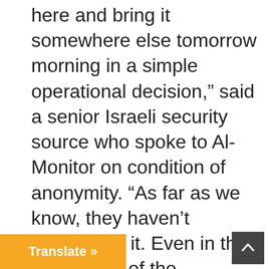here and bring it somewhere else tomorrow morning in a simple operational decision," said a senior Israeli security source who spoke to Al-Monitor on condition of anonymity. "As far as we know, they haven't considered it. Even in the worst days of the relationship between President [Barack] Obama and Prime Minister [Benjamin] Netanyahu, it was clear to all sides that when it comes to the security of Israel there are no conflicts and no rivalries."